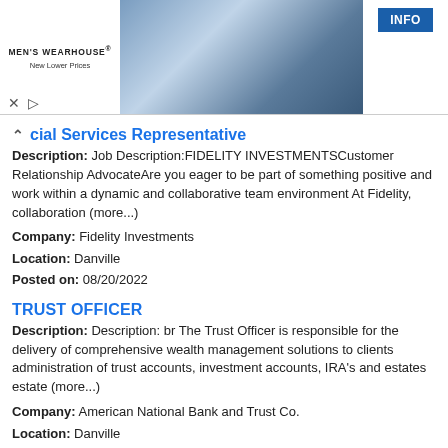[Figure (photo): Men's Wearhouse advertisement banner with couple in formal wear and man in suit, INFO button]
cial Services Representative
Description: Job Description:FIDELITY INVESTMENTSCustomer Relationship AdvocateAre you eager to be part of something positive and work within a dynamic and collaborative team environment At Fidelity, collaboration (more...)
Company: Fidelity Investments
Location: Danville
Posted on: 08/20/2022
TRUST OFFICER
Description: Description: br The Trust Officer is responsible for the delivery of comprehensive wealth management solutions to clients administration of trust accounts, investment accounts, IRA's and estates estate (more...)
Company: American National Bank and Trust Co.
Location: Danville
Posted on: 08/20/2022
Salary in Roanoke, Virginia Area | More details for Roanoke, Virginia Jobs |Salary